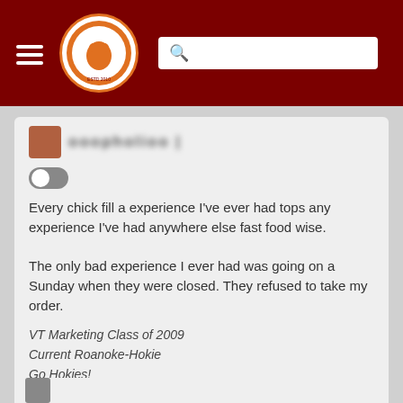The Key Play navigation bar with hamburger menu, logo, and search box
Every chick fill a experience I've ever had tops any experience I've had anywhere else fast food wise.

The only bad experience I ever had was going on a Sunday when they were closed. They refused to take my order.
VT Marketing Class of 2009
Current Roanoke-Hokie
Go Hokies!
Log in or register to post comments about the Virginia Tech Hokies